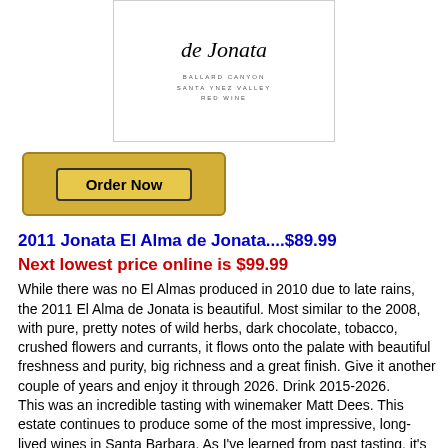[Figure (photo): Wine bottle label for El Alma de Jonata, Ballard Canyon, Santa Ynez Valley, Red Wine, shown in a white bordered box]
[Figure (other): Gold 'Order Now' button with dark border on gold background]
2011 Jonata El Alma de Jonata....$89.99
Next lowest price online is $99.99
While there was no El Almas produced in 2010 due to late rains, the 2011 El Alma de Jonata is beautiful. Most similar to the 2008, with pure, pretty notes of wild herbs, dark chocolate, tobacco, crushed flowers and currants, it flows onto the palate with beautiful freshness and purity, big richness and a great finish. Give it another couple of years and enjoy it through 2026. Drink 2015-2026.
This was an incredible tasting with winemaker Matt Dees. This estate continues to produce some of the most impressive, long-lived wines in Santa Barbara. As I’ve learned from past tasting, it’s always best to schedule this appointment at the end of the day as these effort have no